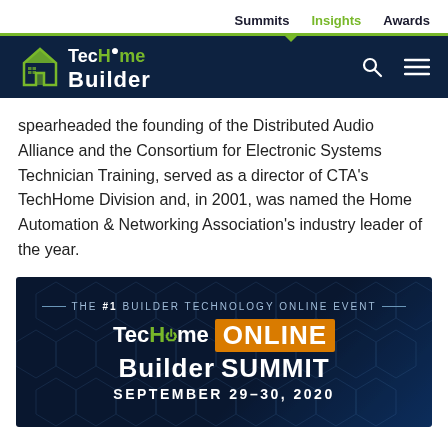Summits | Insights | Awards
[Figure (logo): TecHome Builder logo on dark navy header bar with search and menu icons]
spearheaded the founding of the Distributed Audio Alliance and the Consortium for Electronic Systems Technician Training, served as a director of CTA’s TechHome Division and, in 2001, was named the Home Automation & Networking Association’s industry leader of the year.
[Figure (infographic): TecHome Builder ONLINE SUMMIT – September 29-30, 2020. Dark blue banner with hex pattern background. Top line reads: THE #1 BUILDER TECHNOLOGY ONLINE EVENT]